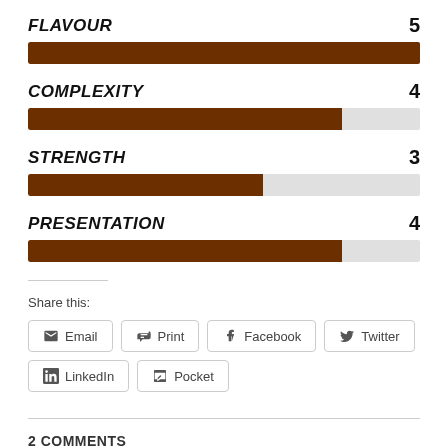[Figure (bar-chart): Ratings]
Share this:
Email  Print  Facebook  Twitter  LinkedIn  Pocket
2 COMMENTS